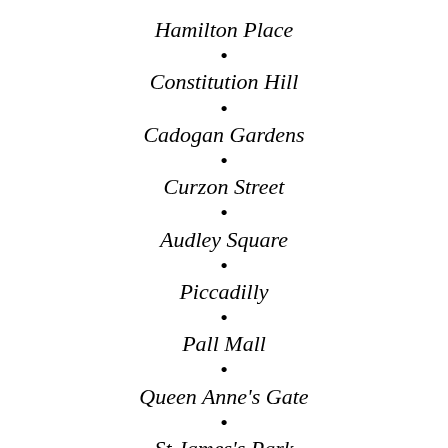Hamilton Place
Constitution Hill
Cadogan Gardens
Curzon Street
Audley Square
Piccadilly
Pall Mall
Queen Anne's Gate
St James's Park